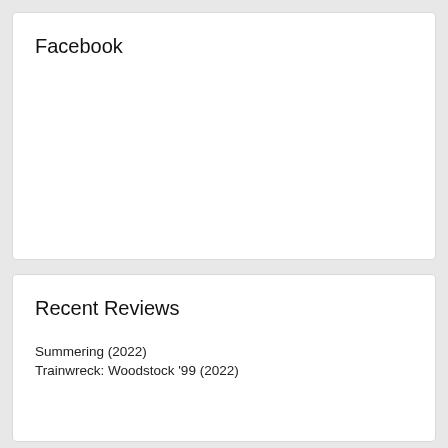Facebook
Recent Reviews
Summering (2022)
Trainwreck: Woodstock '99 (2022)